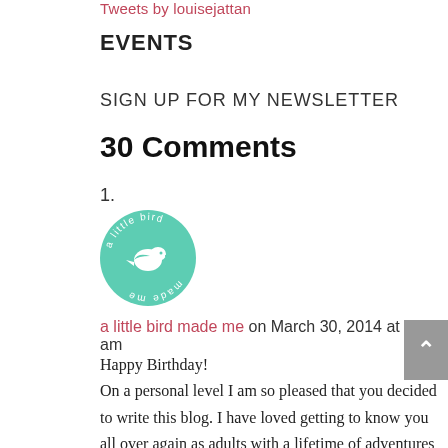Tweets by louisejattan
EVENTS
SIGN UP FOR MY NEWSLETTER
30 Comments
1.
[Figure (logo): A circular teal/mint logo with text 'a little bird made me' around the border and a small white bird icon in the center. The text appears upside-down at the bottom.]
a little bird made me on March 30, 2014 at 7:44 am
Happy Birthday!
On a personal level I am so pleased that you decided to write this blog. I have loved getting to know you all over again as adults with a lifetime of adventures under our belts, remembering Fran, learning about the things that I didn't understand at the time, but